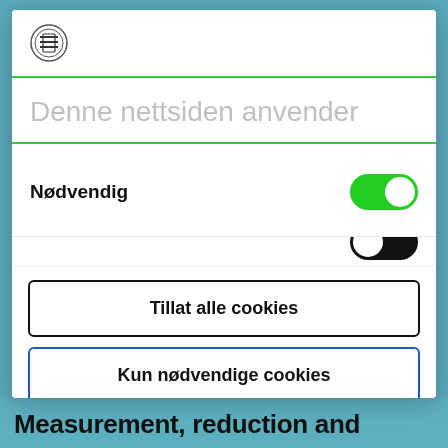[Figure (screenshot): Cookie consent modal overlay on a Norwegian website. Contains logo, title 'Denne nettsiden anvender', a toggle for 'Nødvendig' (green/on), two buttons: 'Tillat alle cookies' and 'Kun nødvendige cookies', and a 'Powered by Cookiebot by Usercentrics' footer. Background shows partial text 'Measurement, reduction and'.]
Measurement, reduction and